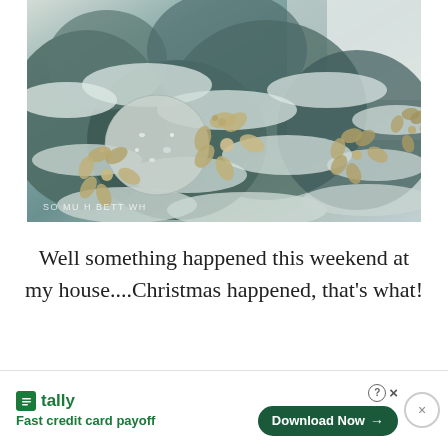[Figure (photo): Close-up photo of a snow-dusted Christmas tree decorated with silver glitter ornaments, gold metallic poinsettia flowers, and frosted branches. Watermark text visible at bottom left.]
Well something happened this weekend at my house....Christmas happened, that's what!
[Figure (other): Tally app advertisement banner. Logo with green Tally icon, tagline 'Fast credit card payoff', Download Now button with arrow, help and close icons.]